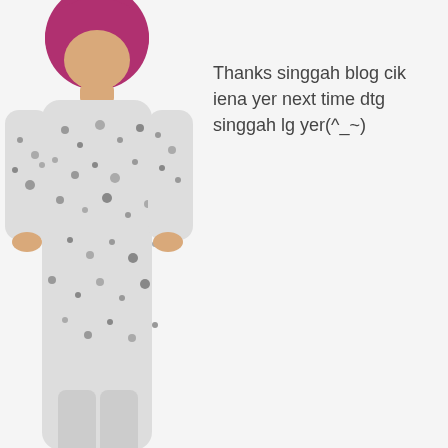[Figure (photo): A person wearing a white floral/patterned baju kurung outfit and pink hijab, cropped at the top of the page]
Thanks singgah blog cik iena yer next time dtg singgah lg yer(^_~)
[Figure (screenshot): Facebook Like button with 'Sign Up to see what your friends like.' text]
[Figure (illustration): Five pink blob/oval decorative elements in a row]
3:30 PM / ienaeliena / 13 comments / My Life
Related Posts